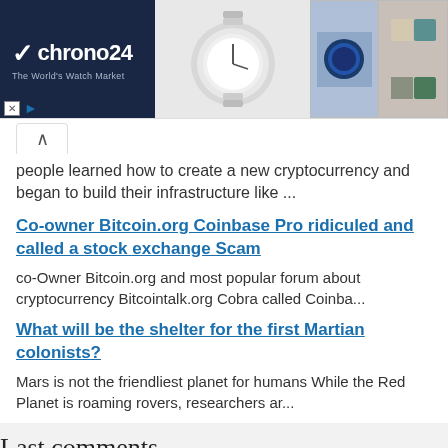[Figure (illustration): Chrono24 advertisement banner showing luxury watches. Left side has dark navy background with Chrono24 logo and tagline 'The World's Watch Market'. Right side shows multiple watch images including blue dial, white/ceramic watch, and three smaller watch thumbnails.]
people learned how to create a new cryptocurrency and began to build their infrastructure like ...
Co-owner Bitcoin.org Coinbase Pro ridiculed and called a stock exchange Scam
co-Owner Bitcoin.org and most popular forum about cryptocurrency Bitcointalk.org Cobra called Coinba...
What will be the shelter for the first Martian colonists?
Mars is not the friendliest planet for humans While the Red Planet is roaming rovers, researchers ar...
Last comments
Galano Reymond  04.09.2022
Despite the fact bad credit report prevented me from getting loan on...